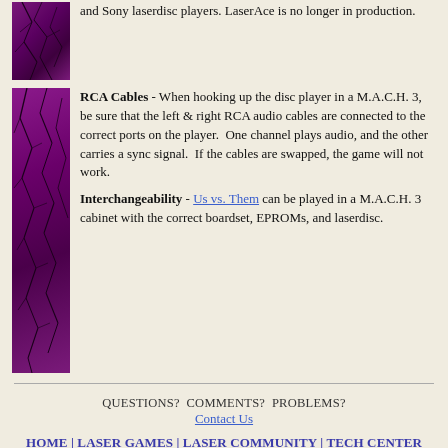and Sony laserdisc players. LaserAce is no longer in production.
RCA Cables - When hooking up the disc player in a M.A.C.H. 3, be sure that the left & right RCA audio cables are connected to the correct ports on the player.  One channel plays audio, and the other carries a sync signal.  If the cables are swapped, the game will not work.
Interchangeability - Us vs. Them can be played in a M.A.C.H. 3 cabinet with the correct boardset, EPROMs, and laserdisc.
QUESTIONS?  COMMENTS?  PROBLEMS?
Contact Us
HOME | LASER GAMES | LASER COMMUNITY | TECH CENTER
This website was created by Jeff Kinder & Dave Hallock, 1997 - 2022.
All trademarks and copyrighted materials are property of their respective owners.